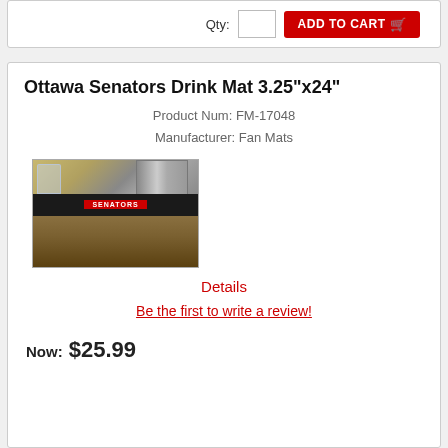[Figure (screenshot): Top card showing Qty label, quantity input box, and red ADD TO CART button with cart icon]
Ottawa Senators Drink Mat 3.25"x24"
Product Num: FM-17048
Manufacturer: Fan Mats
[Figure (photo): Photo of Ottawa Senators Drink Mat on a bar counter with kitchen appliances in background. Black mat with red SENATORS text label visible.]
Details
Be the first to write a review!
Now: $25.99